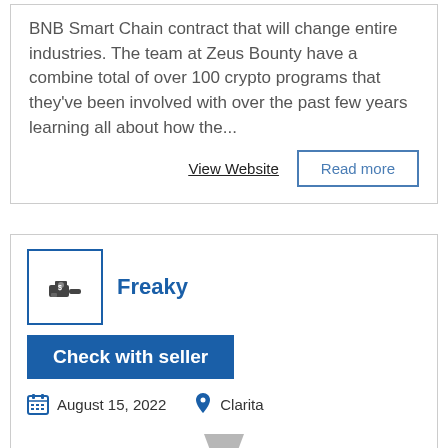BNB Smart Chain contract that will change entire industries. The team at Zeus Bounty have a combine total of over 100 crypto programs that they've been involved with over the past few years learning all about how the...
View Website
Read more
Freaky
Check with seller
August 15, 2022
Clarita
[Figure (logo): Freaky Funnel logo — a funnel graphic with text FREAKY FUNNEL in green and purple stamp style]